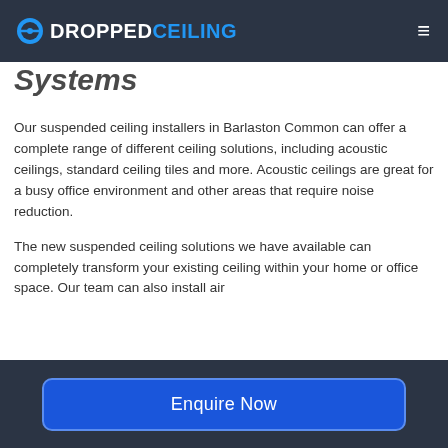DROPPEDCEILING
Systems
Our suspended ceiling installers in Barlaston Common can offer a complete range of different ceiling solutions, including acoustic ceilings, standard ceiling tiles and more. Acoustic ceilings are great for a busy office environment and other areas that require noise reduction.
The new suspended ceiling solutions we have available can completely transform your existing ceiling within your home or office space. Our team can also install air
Enquire Now